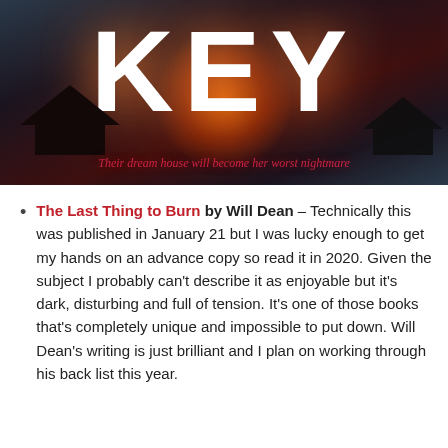[Figure (illustration): Book cover showing large 'KEY' text with an orange glowing halo, dark silhouettes of houses, and the tagline 'Their dream house will become her worst nightmare' in red italic text on a dark dramatic background.]
The Last Thing to Burn by Will Dean – Technically this was published in January 21 but I was lucky enough to get my hands on an advance copy so read it in 2020. Given the subject I probably can't describe it as enjoyable but it's dark, disturbing and full of tension. It's one of those books that's completely unique and impossible to put down. Will Dean's writing is just brilliant and I plan on working through his back list this year.